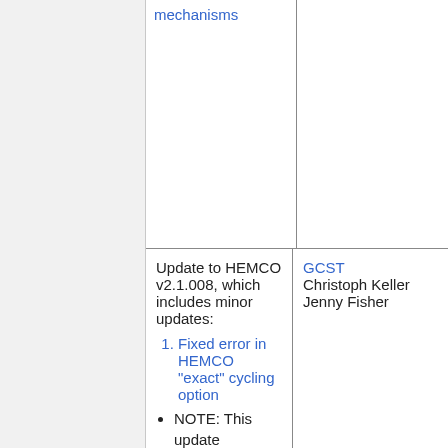mechanisms
Update to HEMCO v2.1.008, which includes minor updates:
Fixed error in HEMCO "exact" cycling option
NOTE: This update introduced an unforeseen side-effect which will be fixed in GEOS-Chem
GCST
Christoph Keller
Jenny Fisher